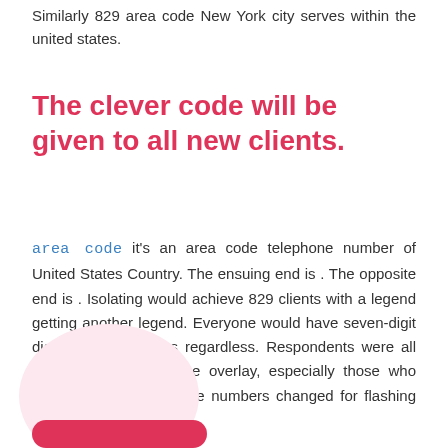Similarly 829 area code New York city serves within the united states.
The clever code will be given to all new clients.
area code it's an area code telephone number of United States Country. The ensuing end is . The opposite end is . Isolating would achieve 829 clients with a legend getting another legend. Everyone would have seven-digit dialing for line brings regardless. Respondents were all the more okay with the overlay, especially those who didn't require their phone numbers changed for flashing materials.
[Figure (illustration): Pink decorative circle and pink rounded bar/button at the bottom of the page]